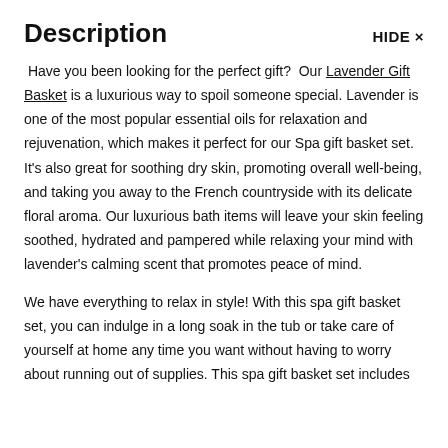Description
HIDE ×
Have you been looking for the perfect gift? Our Lavender Gift Basket is a luxurious way to spoil someone special. Lavender is one of the most popular essential oils for relaxation and rejuvenation, which makes it perfect for our Spa gift basket set. It's also great for soothing dry skin, promoting overall well-being, and taking you away to the French countryside with its delicate floral aroma. Our luxurious bath items will leave your skin feeling soothed, hydrated and pampered while relaxing your mind with lavender's calming scent that promotes peace of mind.
We have everything to relax in style! With this spa gift basket set, you can indulge in a long soak in the tub or take care of yourself at home any time you want without having to worry about running out of supplies. This spa gift basket set includes